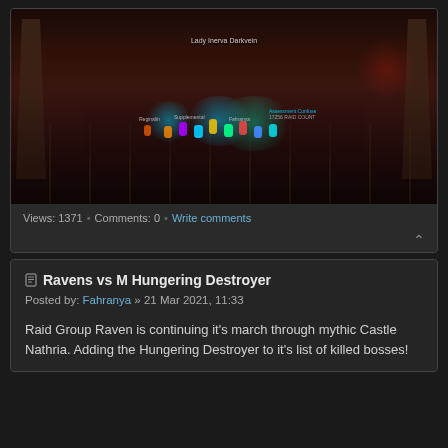[Figure (screenshot): World of Warcraft in-game screenshot showing a raid group fighting Lady Inerva Darkvein in Castle Nathria. Multiple player characters with blue, teal, and purple glowing effects are clustered together. Text labels show player names and a boss name 'Lady Inerva Darkvein'.]
Views: 1371 • Comments: 0 • Write comments
Ravens vs M Hungering Destroyer
Posted by: Fahranya » 21 Mar 2021, 11:33
Raid Group Raven is continuing it's march through mythic Castle Nathria. Adding the Hungering Destroyer to it's list of killed bosses!